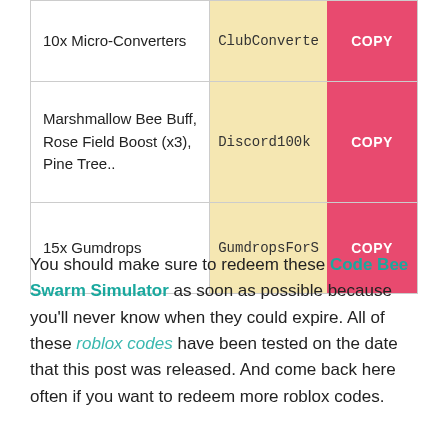| Reward | Code |
| --- | --- |
| 10x Micro-Converters | ClubConverte… [COPY] |
| Marshmallow Bee Buff, Rose Field Boost (x3), Pine Tree.. | Discord100k [COPY] |
| 15x Gumdrops | GumdropsForS… [COPY] |
You should make sure to redeem these Code Bee Swarm Simulator as soon as possible because you'll never know when they could expire. All of these roblox codes have been tested on the date that this post was released. And come back here often if you want to redeem more roblox codes.